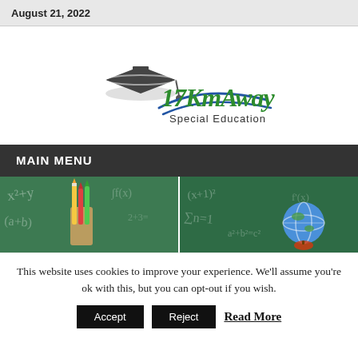August 21, 2022
[Figure (logo): 17KmAway Special Education logo with graduation cap and blue swoosh]
MAIN MENU
[Figure (photo): Two side-by-side classroom photos showing pencils/chalkboard on left and globe/chalkboard on right]
This website uses cookies to improve your experience. We'll assume you're ok with this, but you can opt-out if you wish.
Accept   Reject   Read More